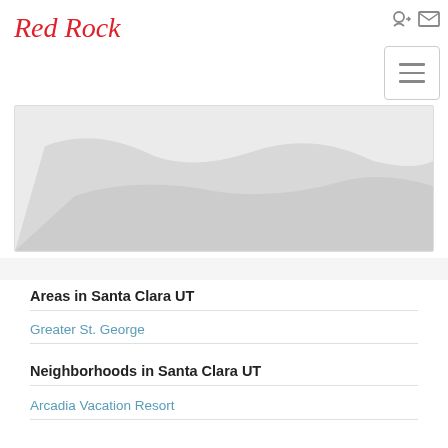Red Rock
[Figure (map): Map area showing Santa Clara UT region, partially visible/cropped]
Areas in Santa Clara UT
Greater St. George
Neighborhoods in Santa Clara UT
Arcadia Vacation Resort